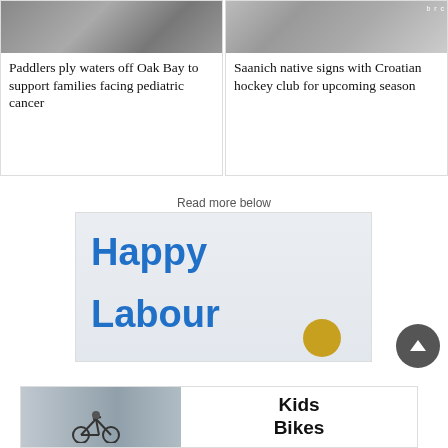[Figure (photo): Photo of paddlers on water, top portion of news card]
Paddlers ply waters off Oak Bay to support families facing pediatric cancer
[Figure (photo): Photo of hockey players, top portion of news card with 'brc' label visible]
Saanich native signs with Croatian hockey club for upcoming season
Read more below
[Figure (infographic): Happy Labour Day advertisement banner with large blue bold text 'Happy Labour' and a gold circle, with faint faces in background]
[Figure (infographic): Kids Bikes advertisement with photo of child on bike and bold text 'Kids Bikes']